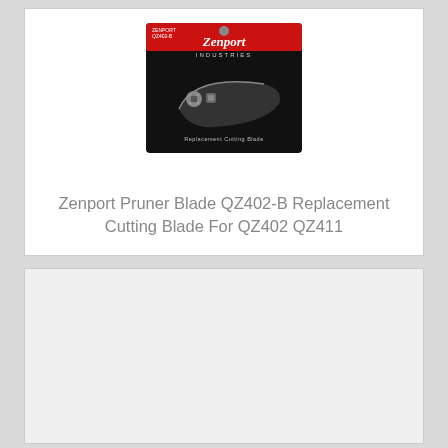[Figure (photo): Product packaging image of Zenport Industries Replacement Cutting Blade QZ402-B on a black card with red top, showing the blade and a small bolt/nut component]
Zenport Pruner Blade QZ402-B Replacement Cutting Blade For QZ402 QZ411